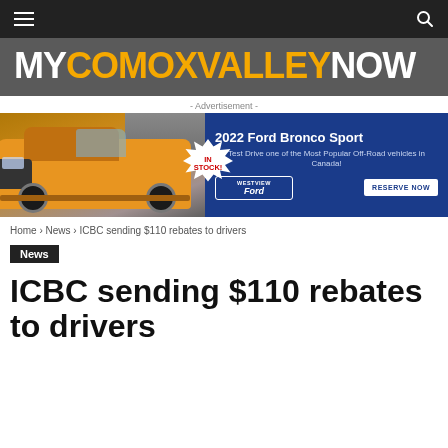MyComoxValleyNow
[Figure (logo): MyComoxValleyNow website logo on dark grey background]
[Figure (infographic): Advertisement banner for 2022 Ford Bronco Sport at Westview Ford. Text: 2022 Ford Bronco Sport - Test Drive one of the Most Popular Off-Road vehicles in Canada! IN STOCK! RESERVE NOW]
Home › News › ICBC sending $110 rebates to drivers
News
ICBC sending $110 rebates to drivers